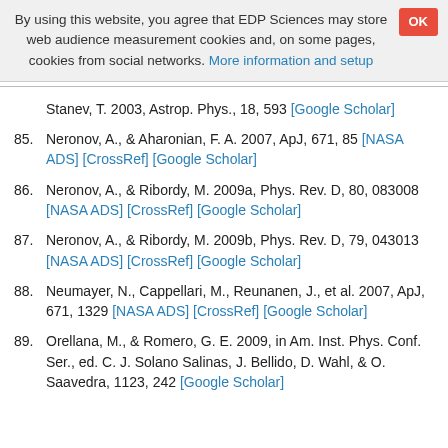By using this website, you agree that EDP Sciences may store web audience measurement cookies and, on some pages, cookies from social networks. More information and setup
Stanev, T. 2003, Astrop. Phys., 18, 593 [Google Scholar]
85. Neronov, A., & Aharonian, F. A. 2007, ApJ, 671, 85 [NASA ADS] [CrossRef] [Google Scholar]
86. Neronov, A., & Ribordy, M. 2009a, Phys. Rev. D, 80, 083008 [NASA ADS] [CrossRef] [Google Scholar]
87. Neronov, A., & Ribordy, M. 2009b, Phys. Rev. D, 79, 043013 [NASA ADS] [CrossRef] [Google Scholar]
88. Neumayer, N., Cappellari, M., Reunanen, J., et al. 2007, ApJ, 671, 1329 [NASA ADS] [CrossRef] [Google Scholar]
89. Orellana, M., & Romero, G. E. 2009, in Am. Inst. Phys. Conf. Ser., ed. C. J. Solano Salinas, J. Bellido, D. Wahl, & O. Saavedra, 1123, 242 [Google Scholar]